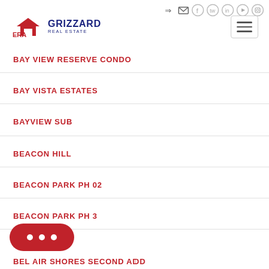ERA Grizzard Real Estate — navigation header with social icons and hamburger menu
BAY VIEW RESERVE CONDO
BAY VISTA ESTATES
BAYVIEW SUB
BEACON HILL
BEACON PARK PH 02
BEACON PARK PH 3
...PARK
BEL AIR SHORES SECOND ADD